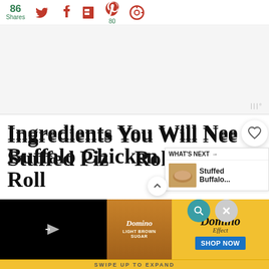86 Shares — social share bar with Twitter, Facebook, Flipboard, Pinterest (80), and another icon
[Figure (screenshot): Gray advertisement placeholder area with Moat tracking tag in bottom right]
Ingredients You Will Need for Buffalo Chicken Stuffed Pizza Roll
[Figure (screenshot): What's Next callout showing Stuffed Buffalo... article thumbnail]
[Figure (screenshot): Domino Sugar advertisement banner with video player, product image of Light Brown Sugar, Domino Effect branding, and SHOP NOW button. SWIPE UP TO EXPAND label at bottom.]